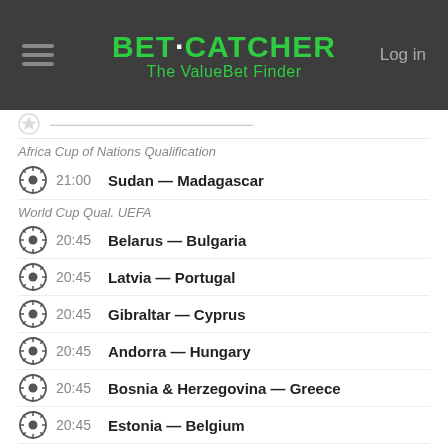BET·CATCHER The ValueBet Finder | Log in
(partial row — cut off match)
Africa Cup of Nations Qualification
21:00  Sudan — Madagascar
World Cup Qual. UEFA
20:45  Belarus — Bulgaria
20:45  Latvia — Portugal
20:45  Gibraltar — Cyprus
20:45  Andorra — Hungary
20:45  Bosnia & Herzegovina — Greece
20:45  Estonia — Belgium
20:45  Faroe Icelands — Switzerland
20:45  Netherlands — Luxembourg
20:45  Sweden — France